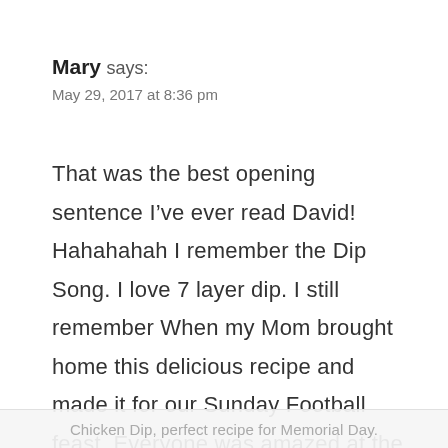Mary says: May 29, 2017 at 8:36 pm
That was the best opening sentence I’ve ever read David! Hahahahah I remember the Dip Song. I love 7 layer dip. I still remember When my Mom brought home this delicious recipe and made it for our Sunday Football feast. Everyone was amazed at the neatness of the layers the tasty flavor combination. Life was so much easier back then lol. I’ve never had Buffalo
Chicken Dip, perfect recipe for Memorial Day.